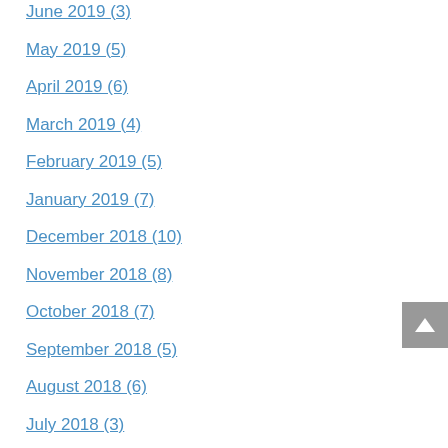June 2019 (3)
May 2019 (5)
April 2019 (6)
March 2019 (4)
February 2019 (5)
January 2019 (7)
December 2018 (10)
November 2018 (8)
October 2018 (7)
September 2018 (5)
August 2018 (6)
July 2018 (3)
June 2018 (8)
May 2018 (5)